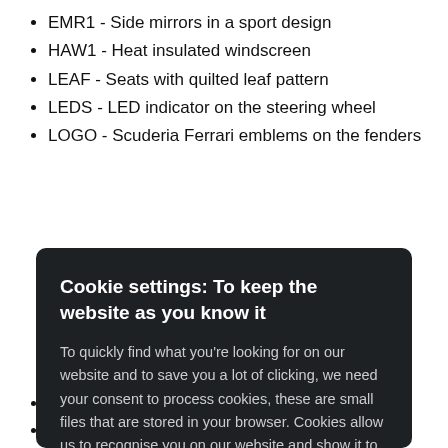EMR1 - Side mirrors in a sport design
HAW1 - Heat insulated windscreen
LEAF - Seats with quilted leaf pattern
LEDS - LED indicator on the steering wheel
LOGO - Scuderia Ferrari emblems on the fenders
Cookie settings: To keep the website as you know it
To quickly find what you’re looking for on our website and to save you a lot of clicking, we need your consent to process cookies, these are small files that are stored in your browser. Cookies allow us to recognise you on our website and show it to you with everything working properly and according to your preferences.
Accept all
Settings
TWO Ferrari bags for the rear bench
Two boxing gloves and a speed bag...